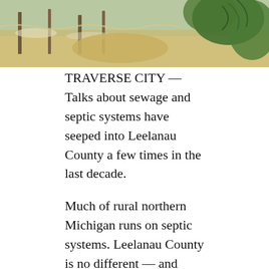[Figure (photo): Outdoor photograph showing water, wooden fence posts or stakes, sandy/rocky ground, and green fern or plant foliage in the background]
TRAVERSE CITY — Talks about sewage and septic systems have seeped into Leelanau County a few times in the last decade.
Much of rural northern Michigan runs on septic systems. Leelanau County is no different — and only a few towns in the county have actual sanitary sewers, bringing the issue to the surface.
The Leelanau County board of commissioners in July voted down commissioner Ty Wessell's motion to form a committee to review septic system issues in the county with an eye toward considering a point-of-sale inspection ordinance.
“This isn’t the first time it’s come up, but it can’t just